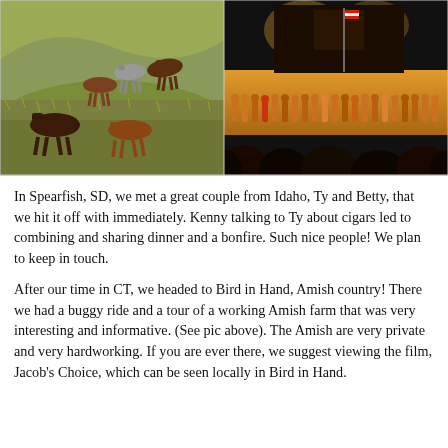[Figure (photo): Two side-by-side photos. Left: Wild horses on a hillside with dry grass and brush. Right: Nighttime outdoor performance or ceremony with a long line of people on a lit stage and audience silhouettes in the foreground.]
In Spearfish, SD, we met a great couple from Idaho, Ty and Betty, that we hit it off with immediately.  Kenny talking to Ty about cigars led to combining and sharing dinner and a bonfire.  Such nice people!  We plan to keep in touch.
After our time in CT, we headed to Bird in Hand, Amish country! There we had a buggy ride and a tour of a working Amish farm that was very interesting and informative.  (See pic above). The Amish are very private and very hardworking.  If you are ever there, we suggest viewing the film, Jacob's Choice, which can be seen locally in Bird in Hand.